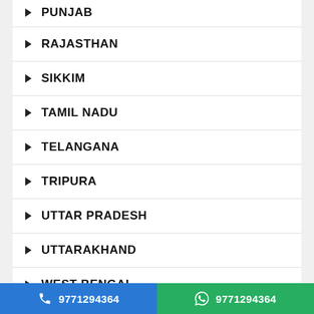PUNJAB
RAJASTHAN
SIKKIM
TAMIL NADU
TELANGANA
TRIPURA
UTTAR PRADESH
UTTARAKHAND
WEST BENGAL
[Figure (infographic): We are Open Ads promotional banner with pink triangle background]
9771294364 (phone) | 9771294364 (WhatsApp)